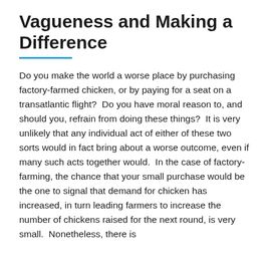Vagueness and Making a Difference
Do you make the world a worse place by purchasing factory-farmed chicken, or by paying for a seat on a transatlantic flight?  Do you have moral reason to, and should you, refrain from doing these things?  It is very unlikely that any individual act of either of these two sorts would in fact bring about a worse outcome, even if many such acts together would.  In the case of factory-farming, the chance that your small purchase would be the one to signal that demand for chicken has increased, in turn leading farmers to increase the number of chickens raised for the next round, is very small.  Nonetheless, there is